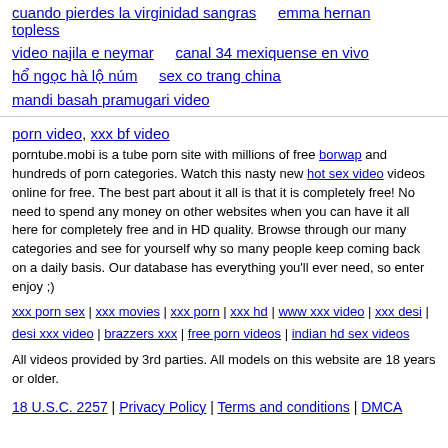cuando pierdes la virginidad sangras   emma hernan topless
video najila e neymar   canal 34 mexiquense en vivo
hổ ngọc hà lộ núm   sex co trang china
mandi basah pramugari video
porn video, xxx bf video
porntube.mobi is a tube porn site with millions of free borwap and hundreds of porn categories. Watch this nasty new hot sex video videos online for free. The best part about it all is that it is completely free! No need to spend any money on other websites when you can have it all here for completely free and in HD quality. Browse through our many categories and see for yourself why so many people keep coming back on a daily basis. Our database has everything you'll ever need, so enter enjoy ;)
xxx porn sex | xxx movies | xxx porn | xxx hd | www xxx video | xxx desi | desi xxx video | brazzers xxx | free porn videos | indian hd sex videos
All videos provided by 3rd parties. All models on this website are 18 years or older.
18 U.S.C. 2257 | Privacy Policy | Terms and conditions | DMCA